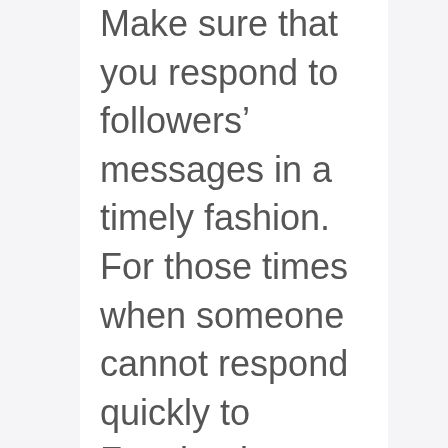Make sure that you respond to followers' messages in a timely fashion. For those times when someone cannot respond quickly to Facebook messages, consider activating automated replies. These pre-written messages, sent to followers every time they send a message, can include important information or answer